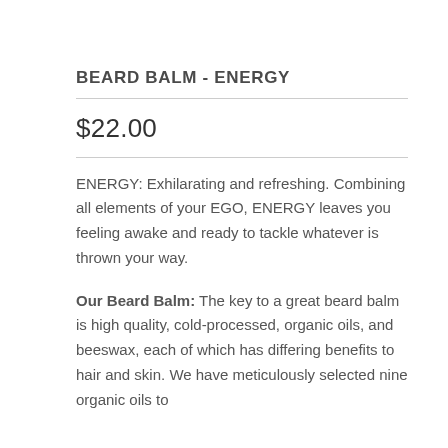BEARD BALM - ENERGY
$22.00
ENERGY: Exhilarating and refreshing. Combining all elements of your EGO, ENERGY leaves you feeling awake and ready to tackle whatever is thrown your way.
Our Beard Balm: The key to a great beard balm is high quality, cold-processed, organic oils, and beeswax, each of which has differing benefits to hair and skin. We have meticulously selected nine organic oils to